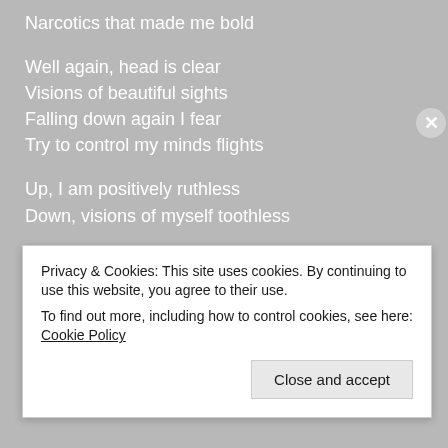Narcotics that made me bold
Well again, head is clear
Visions of beautiful sights
Falling down again I fear
Try to control my minds flights
Up, I am positively ruthless
Down, visions of myself toothless
I will push to control my mind
Not to fall, put positives on downwind
Privacy & Cookies: This site uses cookies. By continuing to use this website, you agree to their use.
To find out more, including how to control cookies, see here: Cookie Policy